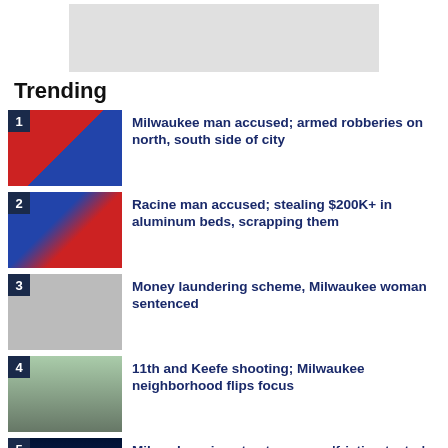[Figure (other): Advertisement banner placeholder]
Trending
1. Milwaukee man accused; armed robberies on north, south side of city
2. Racine man accused; stealing $200K+ in aluminum beds, scrapping them
3. Money laundering scheme, Milwaukee woman sentenced
4. 11th and Keefe shooting; Milwaukee neighborhood flips focus
5. Milwaukee airport gets runway 'friction tester' vehicle